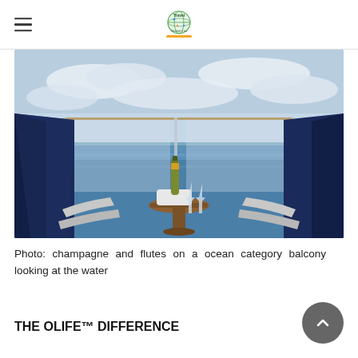Travel Bucket List (logo)
[Figure (photo): Champagne bottle in ice bucket with flutes on a small wooden table on a cruise ship balcony, overlooking the ocean under a partly cloudy sky, with navy curtains and lounge chairs on either side.]
Photo: champagne and flutes on a ocean category balcony looking at the water
THE OLIFE™ DIFFERENCE